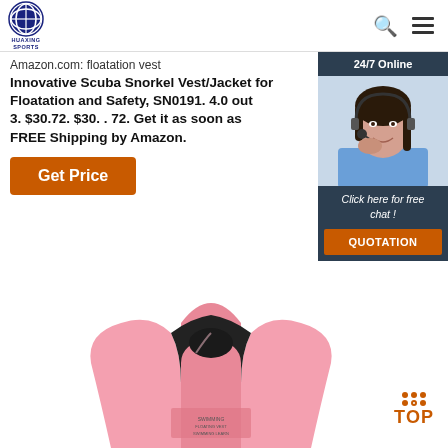[Figure (logo): Huaxing Sports logo - circular emblem with blue and white design]
Amazon.com: floatation vest
Innovative Scuba Snorkel Vest/Jacket for Floatation and Safety, SN0191. 4.0 out 3. $30.72. $30. . 72. Get it as soon as FREE Shipping by Amazon.
[Figure (screenshot): 24/7 Online chat widget with customer service representative photo, 'Click here for free chat!' text, and QUOTATION button]
[Figure (photo): Pink floatation vest/jacket product photo, partially cropped at bottom]